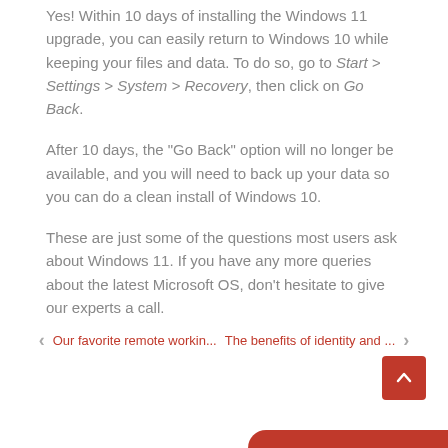Yes! Within 10 days of installing the Windows 11 upgrade, you can easily return to Windows 10 while keeping your files and data. To do so, go to Start > Settings > System > Recovery, then click on Go Back.
After 10 days, the “Go Back” option will no longer be available, and you will need to back up your data so you can do a clean install of Windows 10.
These are just some of the questions most users ask about Windows 11. If you have any more queries about the latest Microsoft OS, don’t hesitate to give our experts a call.
Our favorite remote workin... | The benefits of identity and ...